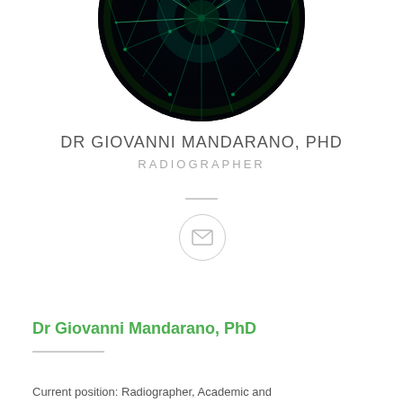[Figure (photo): Circular profile photo of Dr Giovanni Mandarano showing a dark background with glowing green abstract neural/scientific imagery]
DR GIOVANNI MANDARANO, PHD
RADIOGRAPHER
[Figure (other): Email icon inside a light grey circle]
Dr Giovanni Mandarano, PhD
Current position: Radiographer, Academic and